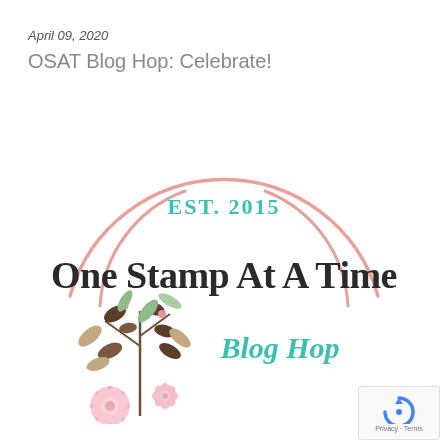April 09, 2020
OSAT Blog Hop: Celebrate!
[Figure (logo): One Stamp At A Time Blog Hop logo — circular pink arc design with teal 'EST. 2015' text, large dark rounded 'One Stamp At A Time' text, teal 'Blog Hop' text, and floral botanical illustration on the lower left]
[Figure (logo): reCAPTCHA badge with Privacy and Terms links]